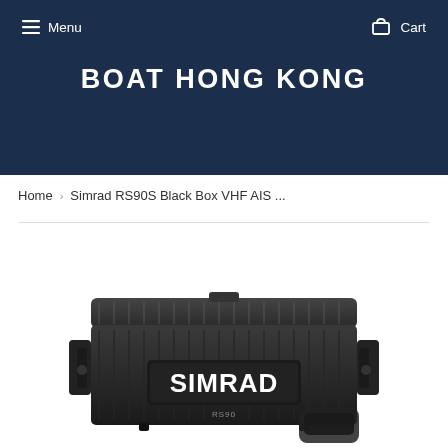Menu   Cart
BOAT HONG KONG
Home › Simrad RS90S Black Box VHF AIS ...
[Figure (photo): Simrad RS90 black box VHF AIS unit - a rugged black electronic device with SIMRAD branding and RS90 model label, shown with an accessory handset in the lower right corner]